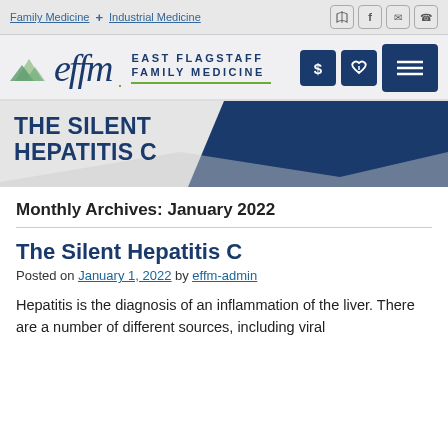Family Medicine + Industrial Medicine
[Figure (logo): EFFM East Flagstaff Family Medicine logo with mountains and stylized 'effm' text]
THE SILENT HEPATITIS C
Monthly Archives: January 2022
The Silent Hepatitis C
Posted on January 1, 2022 by effm-admin
Hepatitis is the diagnosis of an inflammation of the liver. There are a number of different sources, including viral